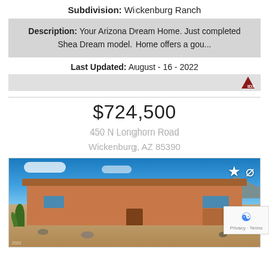Subdivision: Wickenburg Ranch
Description: Your Arizona Dream Home. Just completed Shea Dream model. Home offers a gou...
Last Updated: August - 16 - 2022
[Figure (logo): IDX logo with red triangle and DX text]
$724,500
450 N Longhorn Road Wickenburg, AZ 85390
[Figure (photo): Exterior photo of a single-story stucco home in Wickenburg Ranch with desert landscaping, blue sky, mountains in background. Star and cancel icons in top right corner.]